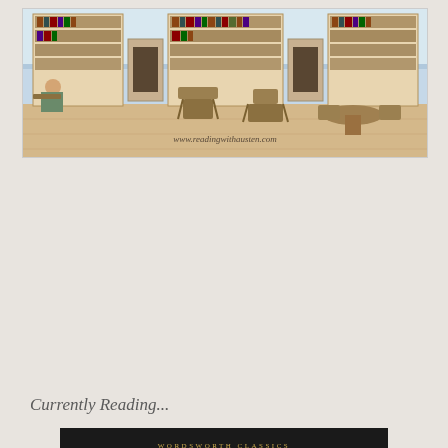[Figure (illustration): Watercolor illustration of a period drawing room with bookcase, fireplace, chairs, and a figure seated at a writing desk. Text at bottom reads www.readingwithausten.com]
Currently Reading...
[Figure (photo): Book cover of 'Ivanhoe' by Sir Walter Scott, Wordsworth Classics edition. Dark/black background with gold 'WORDSWORTH CLASSICS' text, large white 'Ivanhoe' title, gold 'SIR WALTER SCOTT' author name, and a photo of a knight in armor and a woman in blue hood.]